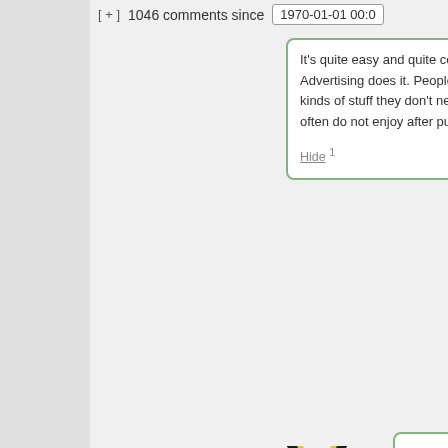[ + ]  1046 comments since  1970-01-01 00:0
It's quite easy and quite com Advertising does it. People b kinds of stuff they don't nee often do not enjoy after purc
Hide 1
[Figure (logo): Yellow and black downward chevron/triangle logo for IrishDude avatar]
IrishDude says: August 30, 2016 at ~new~ Wide-spread retu policies make it n a deal to buy som you find you don't Hide 1